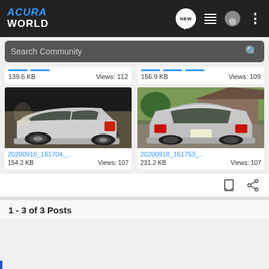[Figure (screenshot): AcuraWorld website header with logo, NEW chat icon, list icon, user icon, and dots menu icon on dark background]
[Figure (screenshot): Search Community search bar with magnifying glass icon on dark background]
139.6 KB   Views: 112
156.9 KB   Views: 109
[Figure (photo): Photo of silver SUV (Acura) rear/side view in driveway - filename 20200918_161704_...]
[Figure (photo): Photo of silver SUV (Acura) rear view with hatch open outdoors - filename 20200918_161753_...]
20200918_161704_...
20200918_161753_...
154.2 KB   Views: 107
231.2 KB   Views: 107
1 - 3 of 3 Posts